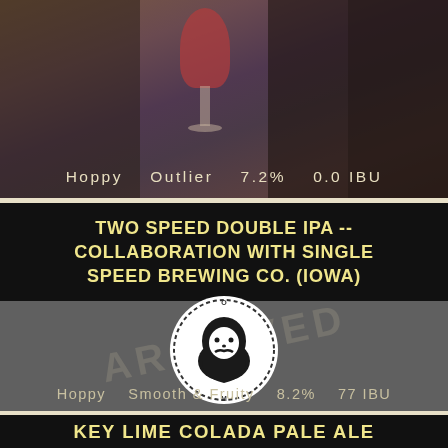[Figure (photo): Top photo strip showing a person holding a red/pink beer in a wine glass, blurred background with bar setting]
Hoppy   Outlier   7.2%   0.0 IBU
TWO SPEED DOUBLE IPA -- COLLABORATION WITH SINGLE SPEED BREWING CO. (IOWA)
[Figure (logo): Circular logo with dashed border featuring a bearded face illustration with text around it, with ARCHIVED watermark overlay]
Hoppy   Smooth & Fruity   8.2%   77 IBU
KEY LIME COLADA PALE ALE